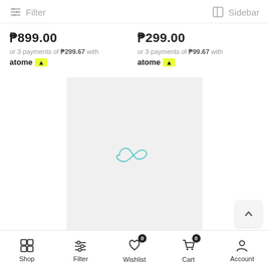Filter   Sidebar
₱899.00
or 3 payments of ₱299.67 with atome
₱299.00
or 3 payments of ₱99.67 with atome
[Figure (other): Loading spinner — teal infinity/loop icon on light gray product card background]
Shop  Filter  Wishlist 0  Cart 0  Account